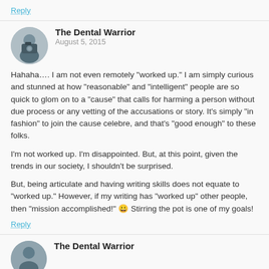Reply
The Dental Warrior
August 5, 2015
Hahaha…. I am not even remotely "worked up." I am simply curious and stunned at how "reasonable" and "intelligent" people are so quick to glom on to a "cause" that calls for harming a person without due process or any vetting of the accusations or story. It's simply "in fashion" to join the cause celebre, and that's "good enough" to these folks.

I'm not worked up. I'm disappointed. But, at this point, given the trends in our society, I shouldn't be surprised.

But, being articulate and having writing skills does not equate to "worked up." However, if my writing has "worked up" other people, then "mission accomplished!" 😀 Stirring the pot is one of my goals!
Reply
The Dental Warrior